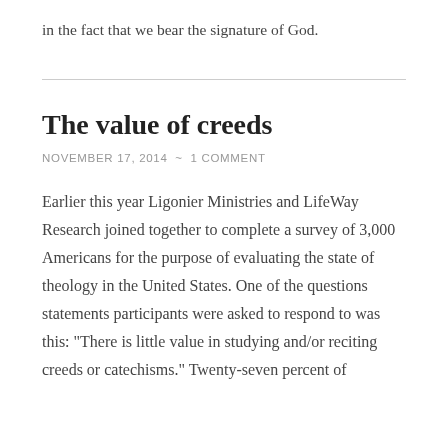in the fact that we bear the signature of God.
The value of creeds
NOVEMBER 17, 2014  ~  1 COMMENT
Earlier this year Ligonier Ministries and LifeWay Research joined together to complete a survey of 3,000 Americans for the purpose of evaluating the state of theology in the United States. One of the questions statements participants were asked to respond to was this: "There is little value in studying and/or reciting creeds or catechisms." Twenty-seven percent of